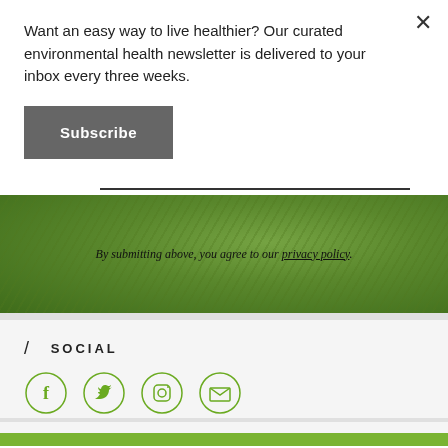Want an easy way to live healthier? Our curated environmental health newsletter is delivered to your inbox every three weeks.
Subscribe
By submitting above, you agree to our privacy policy.
/ SOCIAL
[Figure (infographic): Four social media icons in green circles: Facebook, Twitter, Instagram, Email]
DONATE